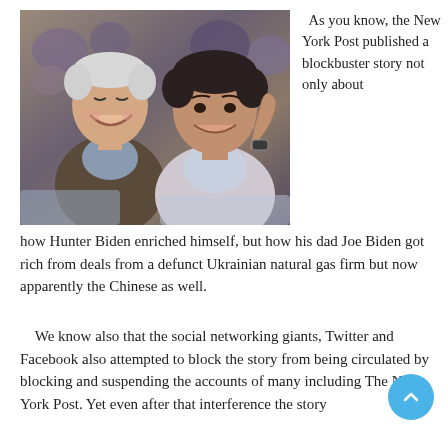[Figure (photo): Two men smiling together at what appears to be a sporting event — an older white-haired man on the left and a younger dark-haired man on the right pointing his finger.]
As you know, the New York Post published a blockbuster story not only about how Hunter Biden enriched himself, but how his dad Joe Biden got rich from deals from a defunct Ukrainian natural gas firm but now apparently the Chinese as well.
We know also that the social networking giants, Twitter and Facebook also attempted to block the story from being circulated by blocking and suspending the accounts of many including The New York Post. Yet even after that interference the story